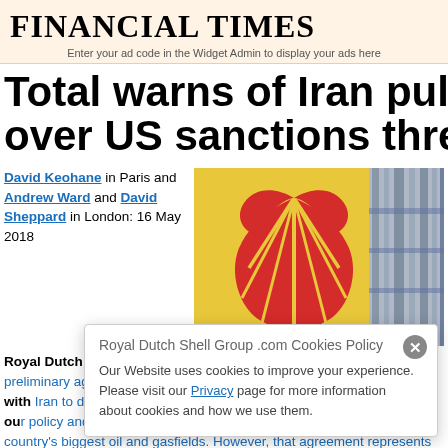FINANCIAL TIMES
Enter your ad code in the Widget Admin to display your ads here
Total warns of Iran pullout over US sanctions threat
David Keohane in Paris and Andrew Ward and David Sheppard in London: 16 May 2018
[Figure (photo): Photo of Royal Dutch Shell logo on yellow background with industrial pipework visible]
Royal Dutch Shell, the largest European oil and gas company, has a preliminary agreement with Iran to develop one of the country's biggest oil and gasfields. However, that agreement represents
Royal Dutch Shell Group .com Cookies Policy
Our Website uses cookies to improve your experience. Please visit our Privacy page for more information about cookies and how we use them.